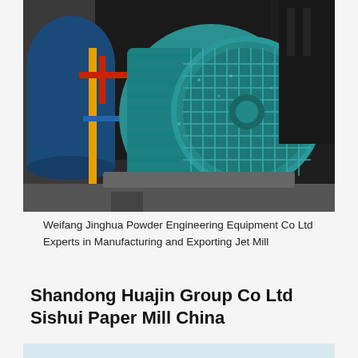[Figure (photo): Industrial electric motor in teal/cyan color mounted in a manufacturing facility, with blue cylindrical equipment and yellow pipes in the background.]
Weifang Jinghua Powder Engineering Equipment Co Ltd Experts in Manufacturing and Exporting Jet Mill
Shandong Huajin Group Co Ltd Sishui Paper Mill China
[Figure (photo): Partial view of industrial equipment or crane at a paper mill, sky background visible.]